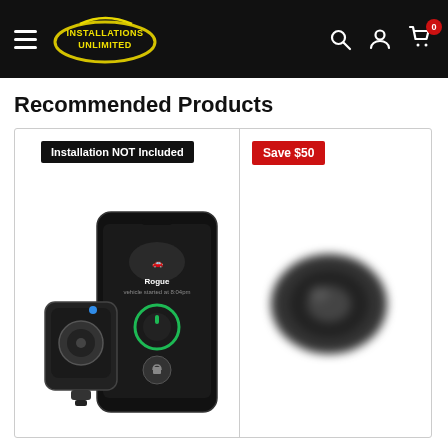Installations Unlimited — navigation header with hamburger menu, logo, search, account, and cart (0 items)
Recommended Products
[Figure (photo): Product card showing a remote car starter device next to a smartphone displaying the Rogue app with start controls. Badge reads 'Installation NOT Included'.]
[Figure (photo): Partially visible product card with a blurred image of a dark remote device. Badge reads 'Save $50'.]